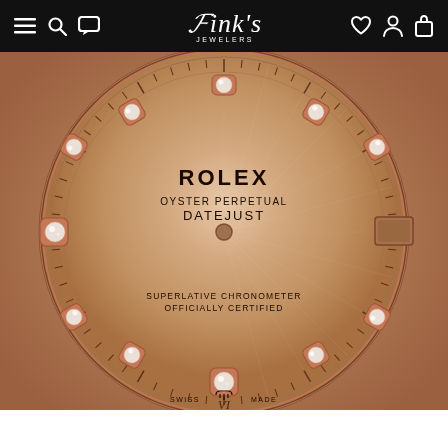[Figure (screenshot): Fink's Jewelers website navigation bar with hamburger menu, search, chat icons on left; Fink's Jewelers script logo in center; heart, account, bag icons on right; black background]
[Figure (photo): Rolex Oyster Perpetual Datejust watch dial close-up. Rose gold/champagne sunray dial with diamond hour markers set in rose gold bezels at each hour position. Center text reads ROLEX / OYSTER PERPETUAL / DATEJUST. Lower text reads SUPERLATIVE CHRONOMETER / OFFICIALLY CERTIFIED. Date window at 3 o'clock. Swiss Made text at bottom. Roman numeral markers at 3, 6, 9, 12 positions with minute track around perimeter.]